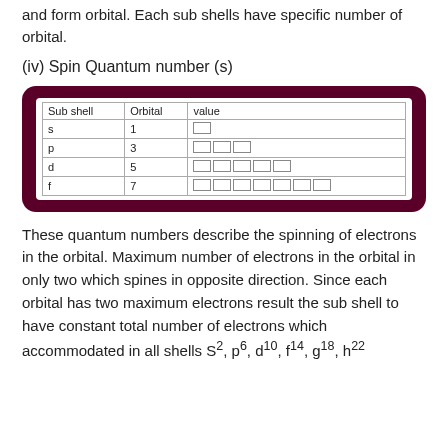and form orbital. Each sub shells have specific number of orbital.
(iv) Spin Quantum number (s)
| Sub shell | Orbital | value |
| --- | --- | --- |
| s | 1 | [1 orbital box] |
| p | 3 | [3 orbital boxes] |
| d | 5 | [5 orbital boxes] |
| f | 7 | [7 orbital boxes] |
These quantum numbers describe the spinning of electrons in the orbital. Maximum number of electrons in the orbital in only two which spines in opposite direction. Since each orbital has two maximum electrons result the sub shell to have constant total number of electrons which accommodated in all shells S2, p6, d10, f14, g18, h22